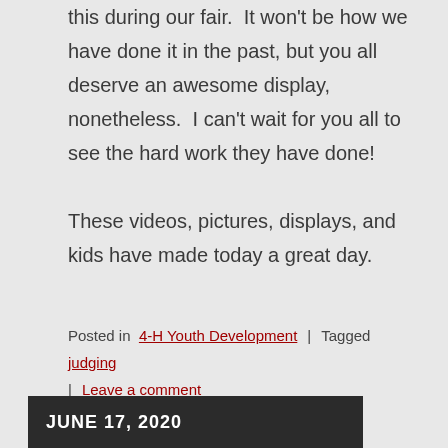this during our fair.  It won't be how we have done it in the past, but you all deserve an awesome display, nonetheless.  I can't wait for you all to see the hard work they have done!

These videos, pictures, displays, and kids have made today a great day.
Posted in  4-H Youth Development  |  Tagged  judging  |  Leave a comment
JUNE 17, 2020